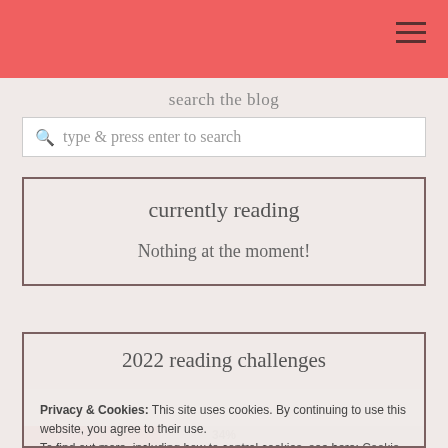search the blog
type & press enter to search
currently reading
Nothing at the moment!
2022 reading challenges
Privacy & Cookies: This site uses cookies. By continuing to use this website, you agree to their use. To find out more, including how to control cookies, see here: Cookie Policy
Close and accept
34%